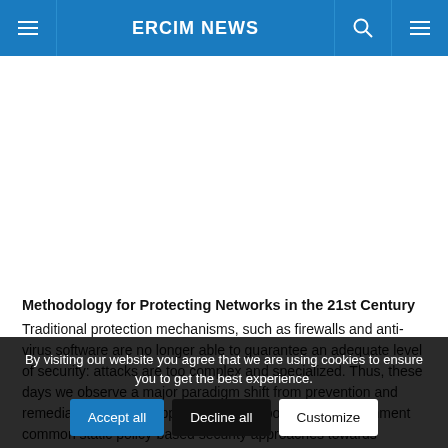ERCIM NEWS
Methodology for Protecting Networks in the 21st Century
Traditional protection mechanisms, such as firewalls and anti-virus software are no longer able to guarantee an adequate level of security: attacks are too complex and specialized. Thus, these days we observe a major paradigm shift from prevention and remediation-focused approaches to response and containment common static policy-based security approaches towards intelligent analysis anomalies, analysis of
By visiting our website you agree that we are using cookies to ensure you to get the best experience.